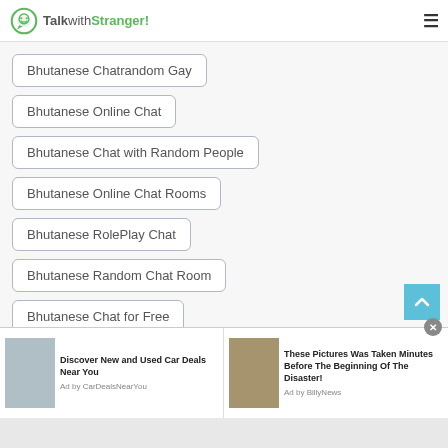TalkwithStranger!
Bhutanese Chatrandom Gay
Bhutanese Online Chat
Bhutanese Chat with Random People
Bhutanese Online Chat Rooms
Bhutanese RolePlay Chat
Bhutanese Random Chat Room
Bhutanese Chat for Free
Bhutanese Online Free Call
[Figure (screenshot): Advertisement bar with two ads: 'Discover New and Used Car Deals Near You' by CarDealsNearYou, and 'These Pictures Was Taken Minutes Before The Beginning Of The Disaster!' by BillyNews]